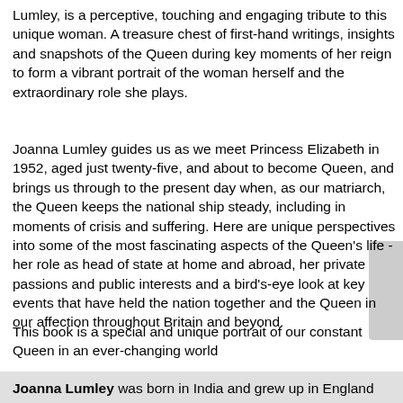Lumley, is a perceptive, touching and engaging tribute to this unique woman. A treasure chest of first-hand writings, insights and snapshots of the Queen during key moments of her reign to form a vibrant portrait of the woman herself and the extraordinary role she plays.
Joanna Lumley guides us as we meet Princess Elizabeth in 1952, aged just twenty-five, and about to become Queen, and brings us through to the present day when, as our matriarch, the Queen keeps the national ship steady, including in moments of crisis and suffering. Here are unique perspectives into some of the most fascinating aspects of the Queen's life - her role as head of state at home and abroad, her private passions and public interests and a bird's-eye look at key events that have held the nation together and the Queen in our affection throughout Britain and beyond.
This book is a special and unique portrait of our constant Queen in an ever-changing world
Joanna Lumley was born in India and grew up in England